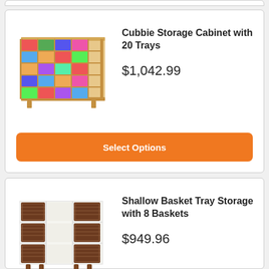[Figure (illustration): Cubbie Storage Cabinet with 20 colorful trays, wooden frame in natural maple color]
Cubbie Storage Cabinet with 20 Trays
$1,042.99
Select Options
[Figure (illustration): Shallow Basket Tray Storage with 8 Baskets, white cabinet with dark brown wicker baskets]
Shallow Basket Tray Storage with 8 Baskets
$949.96